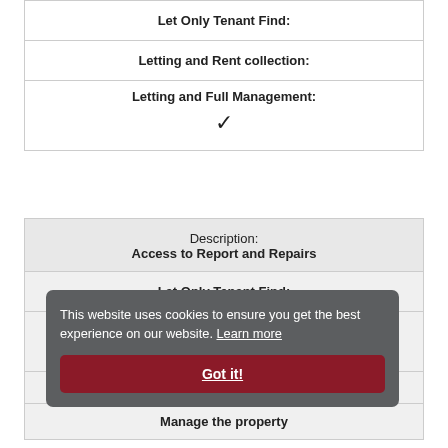| Let Only Tenant Find: | Letting and Rent collection: | Letting and Full Management: |
| --- | --- | --- |
|  |  | ✓ |
| Description: Access to Report and Repairs | Let Only Tenant Find: |  | Manage the property |
| --- | --- | --- | --- |
This website uses cookies to ensure you get the best experience on our website. Learn more
Got it!